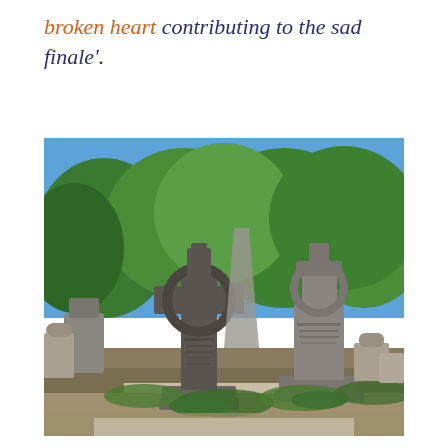broken heart contributing to the sad finale'.
[Figure (photo): Photograph of a cemetery with two large stone Celtic crosses and other grave markers, surrounded by green trees under a blue sky with white clouds.]